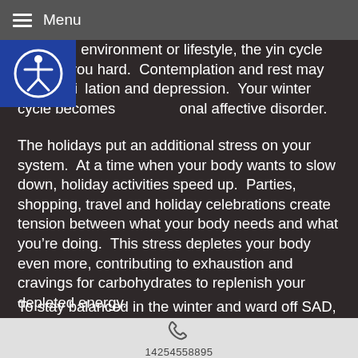Menu
genetics, environment or lifestyle, the yin cycle may hit you hard.  Contemplation and rest may become isolation and depression.  Your winter cycle becomes onal affective disorder.
The holidays put an additional stress on your system.  At a time when your body wants to slow down, holiday activities speed up.  Parties, shopping, travel and holiday celebrations create tension between what your body needs and what you’re doing.  This stress depletes your body even more, contributing to exhaustion and cravings for carbohydrates to replenish your depleted energy.
To stay balanced in the winter and ward off SAD, conserve your energy.  Practice quiet, yin activities like
14254558895